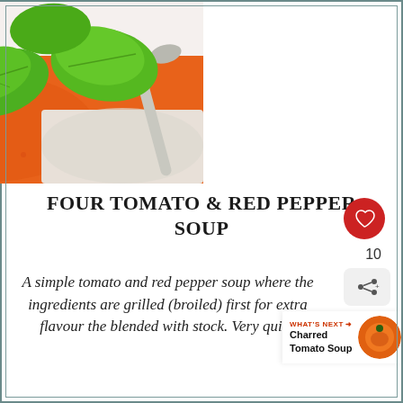[Figure (photo): Close-up photo of tomato and red pepper soup in a white bowl with fresh green basil leaves and a spoon, shot from above on white background]
FOUR TOMATO & RED PEPPER SOUP
A simple tomato and red pepper soup where the ingredients are grilled (broiled) first for extra flavour the blended with stock. Very quick